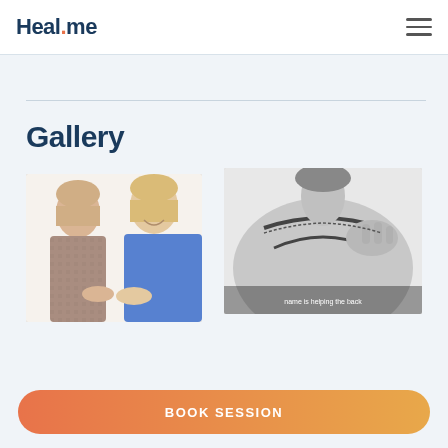Heal.me
Gallery
[Figure (photo): Two women facing each other and smiling, one wearing a blue sleeveless top, in a bright consultation setting]
[Figure (photo): Black and white photo of a person's shoulder and upper back being touched by a hand, possibly a massage or therapy session]
BOOK SESSION